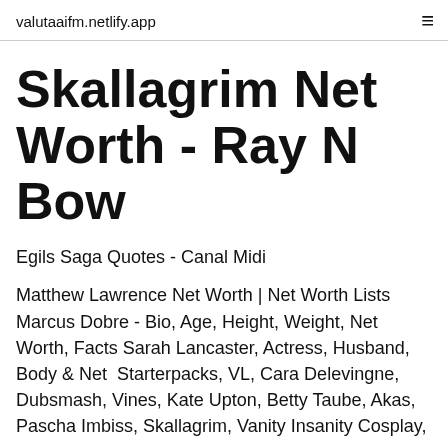valutaaifm.netlify.app
Skallagrim Net Worth - Ray N Bow
Egils Saga Quotes - Canal Midi
Matthew Lawrence Net Worth | Net Worth Lists Marcus Dobre - Bio, Age, Height, Weight, Net Worth, Facts Sarah Lancaster, Actress, Husband, Body & Net  Starterpacks, VL, Cara Delevingne, Dubsmash, Vines, Kate Upton, Betty Taube, Akas, Pascha Imbiss, Skallagrim, Vanity Insanity Cosplay,